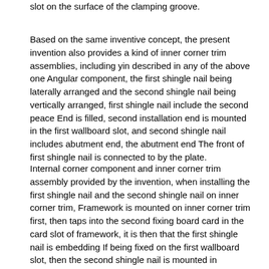slot on the surface of the clamping groove.
Based on the same inventive concept, the present invention also provides a kind of inner corner trim assemblies, including yin described in any of the above one Angular component, the first shingle nail being laterally arranged and the second shingle nail being vertically arranged, first shingle nail include the second peace End is filled, second installation end is mounted in the first wallboard slot, and second shingle nail includes abutment end, the abutment end The front of first shingle nail is connected to by the plate.
Internal corner component and inner corner trim assembly provided by the invention, when installing the first shingle nail and the second shingle nail on inner corner trim, Framework is mounted on inner corner trim first, then taps into the second fixing board card in the card slot of framework, it is then that the first shingle nail is embedding If being fixed on the first wallboard slot, then the second shingle nail is mounted in wallboard grafting, makes mutually to be bordered by the second shingle nail Two surfaces are jointly mounted on plugboard and